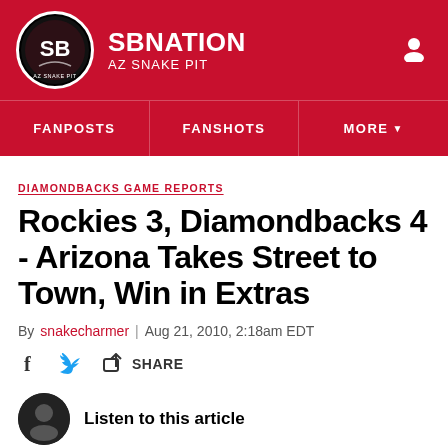[Figure (logo): SB Nation / AZ Snake Pit logo header with red background, circular snake logo, SBNATION wordmark and AZ SNAKE PIT subtext, user icon top right]
FANPOSTS | FANSHOTS | MORE
DIAMONDBACKS GAME REPORTS
Rockies 3, Diamondbacks 4 - Arizona Takes Street to Town, Win in Extras
By snakecharmer | Aug 21, 2010, 2:18am EDT
SHARE
Listen to this article